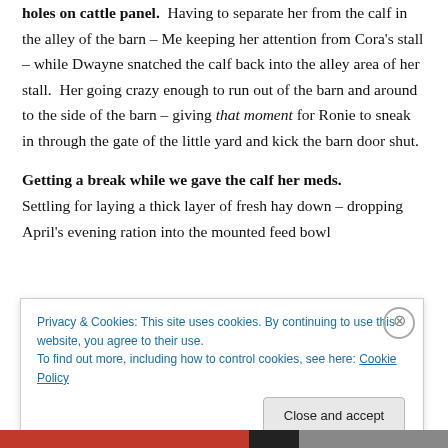holes on cattle panel. Having to separate her from the calf in the alley of the barn – Me keeping her attention from Cora's stall – while Dwayne snatched the calf back into the alley area of her stall. Her going crazy enough to run out of the barn and around to the side of the barn – giving that moment for Ronie to sneak in through the gate of the little yard and kick the barn door shut.
Getting a break while we gave the calf her meds.
Settling for laying a thick layer of fresh hay down – dropping April's evening ration into the mounted feed bowl
Privacy & Cookies: This site uses cookies. By continuing to use this website, you agree to their use.
To find out more, including how to control cookies, see here: Cookie Policy
Close and accept